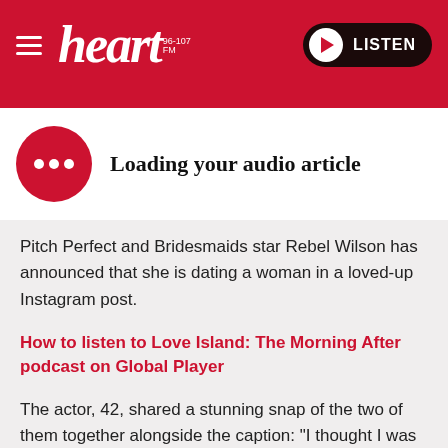[Figure (logo): Heart FM radio website header with red background, hamburger menu icon, Heart 96-107 FM logo in white italic text, and a black LISTEN button with white play circle]
[Figure (infographic): White audio article loading widget with red circle containing three white dots and bold text 'Loading your audio article']
Pitch Perfect and Bridesmaids star Rebel Wilson has announced that she is dating a woman in a loved-up Instagram post.
How to listen to Love Island: The Morning After podcast on Global Player
The actor, 42, shared a stunning snap of the two of them together alongside the caption: "I thought I was searching for a Disney Prince... but maybe what I really needed all this